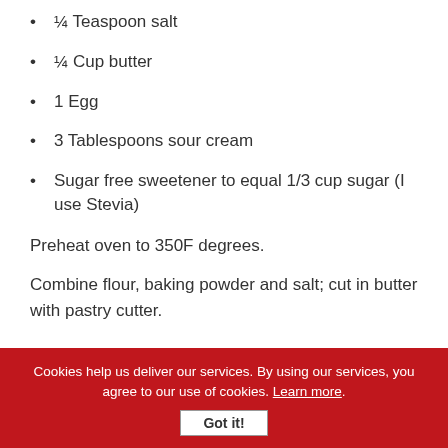¼ Teaspoon salt
¼ Cup butter
1 Egg
3 Tablespoons sour cream
Sugar free sweetener to equal 1/3 cup sugar (I use Stevia)
Preheat oven to 350F degrees.
Combine flour, baking powder and salt; cut in butter with pastry cutter.
Cookies help us deliver our services. By using our services, you agree to our use of cookies. Learn more. Got it!